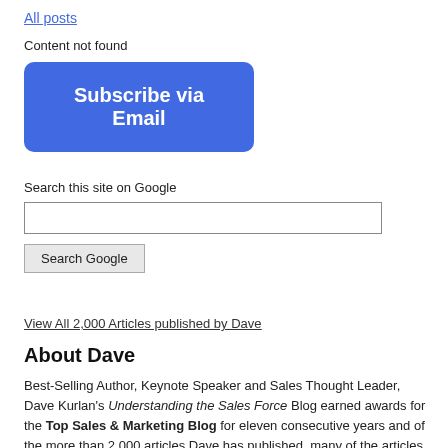All posts
Content not found
[Figure (other): Blue rounded rectangle button with white bold text: Subscribe via Email]
Search this site on Google
[Figure (other): Text input field for Google search]
[Figure (other): Search Google button]
View All 2,000 Articles published by Dave
About Dave
Best-Selling Author, Keynote Speaker and Sales Thought Leader,  Dave Kurlan's Understanding the Sales Force Blog earned awards for the Top Sales & Marketing Blog for eleven consecutive years and of the more than 2,000 articles Dave has published, many of the articles have also earned awards.